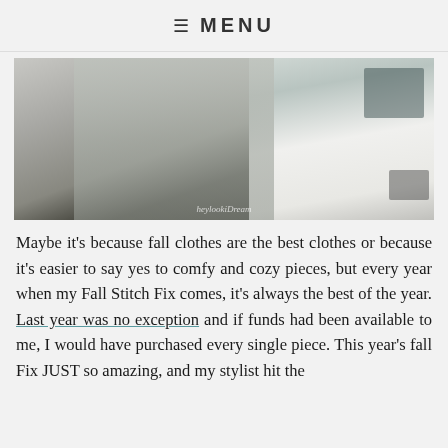≡ MENU
[Figure (photo): Woman wearing a light gray open-front cardigan over black outfit, split image showing office chair on right side]
Maybe it's because fall clothes are the best clothes or because it's easier to say yes to comfy and cozy pieces, but every year when my Fall Stitch Fix comes, it's always the best of the year. Last year was no exception and if funds had been available to me, I would have purchased every single piece. This year's fall Fix JUST so amazing, and my stylist hit the